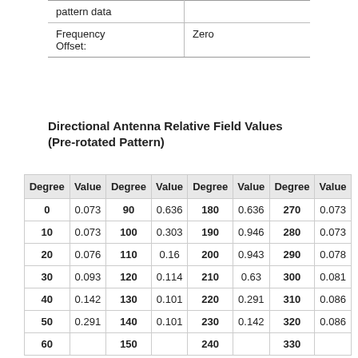|  | pattern data |  |
| --- | --- | --- |
| Frequency Offset: | Zero |
Directional Antenna Relative Field Values (Pre-rotated Pattern)
| Degree | Value | Degree | Value | Degree | Value | Degree | Value |
| --- | --- | --- | --- | --- | --- | --- | --- |
| 0 | 0.073 | 90 | 0.636 | 180 | 0.636 | 270 | 0.073 |
| 10 | 0.073 | 100 | 0.303 | 190 | 0.946 | 280 | 0.073 |
| 20 | 0.076 | 110 | 0.16 | 200 | 0.943 | 290 | 0.078 |
| 30 | 0.093 | 120 | 0.114 | 210 | 0.63 | 300 | 0.081 |
| 40 | 0.142 | 130 | 0.101 | 220 | 0.291 | 310 | 0.086 |
| 50 | 0.291 | 140 | 0.101 | 230 | 0.142 | 320 | 0.086 |
| 60 | ... | 150 | ... | 240 | ... | 330 | ... |